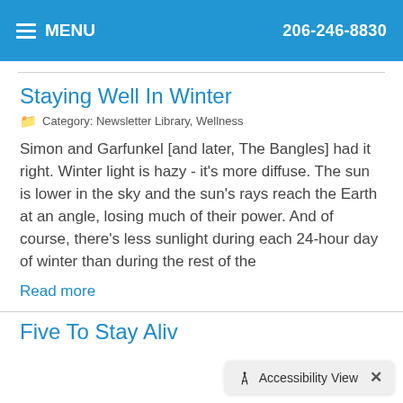MENU   206-246-8830
Staying Well In Winter
Category: Newsletter Library, Wellness
Simon and Garfunkel [and later, The Bangles] had it right. Winter light is hazy - it's more diffuse. The sun is lower in the sky and the sun's rays reach the Earth at an angle, losing much of their power. And of course, there's less sunlight during each 24-hour day of winter than during the rest of the
Read more
Five To Stay Aliv…